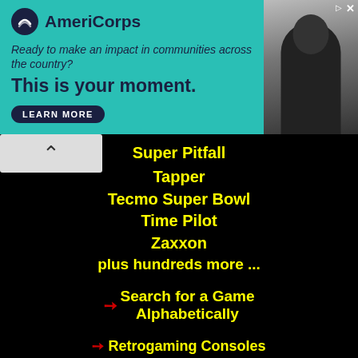[Figure (photo): AmeriCorps advertisement banner. Teal/green background with AmeriCorps logo (dark circle with wave symbol), tagline 'Ready to make an impact in communities across the country?', headline 'This is your moment.', LEARN MORE button, and a photo of a person on the right side.]
Super Pitfall
Tapper
Tecmo Super Bowl
Time Pilot
Zaxxon
plus hundreds more ...
➜ Search for a Game Alphabetically
➜ Retrogaming Consoles
➜ All Our NES Games
➜ All Atari 2600 Games
➜ All Atari 5200 Games
➜ All Atari 7800 Games
➜ All Sega Games
➜ Virtual ColecoVision
➜ About our Emulators
➜ NES Java Emulator
➜ History of NES